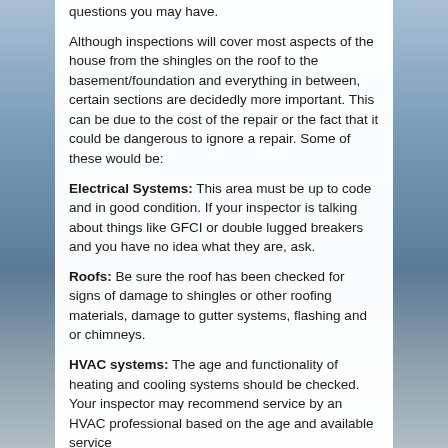questions you may have.
Although inspections will cover most aspects of the house from the shingles on the roof to the basement/foundation and everything in between, certain sections are decidedly more important. This can be due to the cost of the repair or the fact that it could be dangerous to ignore a repair. Some of these would be:
Electrical Systems: This area must be up to code and in good condition. If your inspector is talking about things like GFCI or double lugged breakers and you have no idea what they are, ask.
Roofs: Be sure the roof has been checked for signs of damage to shingles or other roofing materials, damage to gutter systems, flashing and or chimneys.
HVAC systems: The age and functionality of heating and cooling systems should be checked. Your inspector may recommend service by an HVAC professional based on the age and available service